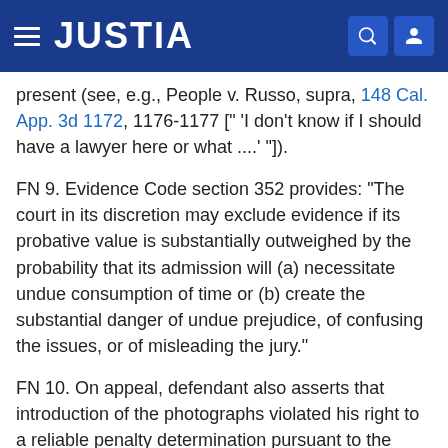JUSTIA
present (see, e.g., People v. Russo, supra, 148 Cal. App. 3d 1172, 1176-1177 [" 'I don't know if I should have a lawyer here or what ....' "]).
FN 9. Evidence Code section 352 provides: "The court in its discretion may exclude evidence if its probative value is substantially outweighed by the probability that its admission will (a) necessitate undue consumption of time or (b) create the substantial danger of undue prejudice, of confusing the issues, or of misleading the jury."
FN 10. On appeal, defendant also asserts that introduction of the photographs violated his right to a reliable penalty determination pursuant to the Eighth and Fourteenth Amendments to the United States Constitution. At trial, defendant failed to object based upon any federal constitutional provision. Therefore